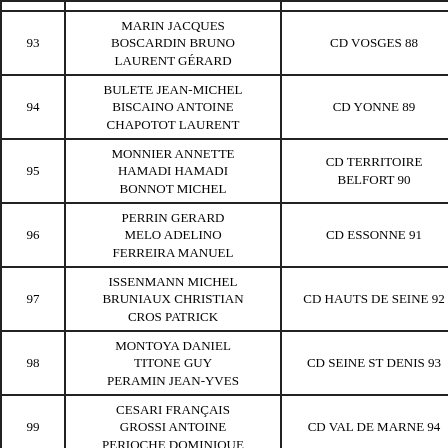| # | Names | Organization |
| --- | --- | --- |
| 93 | MARIN JACQUES
BOSCARDIN BRUNO
LAURENT GÉRARD | CD VOSGES 88 |
| 94 | BULETE JEAN-MICHEL
BISCAINO ANTOINE
CHAPOTOT LAURENT | CD YONNE 89 |
| 95 | MONNIER ANNETTE
HAMADI HAMADI
BONNOT MICHEL | CD TERRITOIRE BELFORT 90 |
| 96 | PERRIN GERARD
MELO ADELINO
FERREIRA MANUEL | CD ESSONNE 91 |
| 97 | ISSENMANN MICHEL
BRUNIAUX CHRISTIAN
CROS PATRICK | CD HAUTS DE SEINE 92 |
| 98 | MONTOYA DANIEL
TITONE GUY
PERAMIN JEAN-YVES | CD SEINE ST DENIS 93 |
| 99 | CESARI FRANÇOIS
GROSSI ANTOINE
PERIOCHE DOMINIQUE | CD VAL DE MARNE 94 |